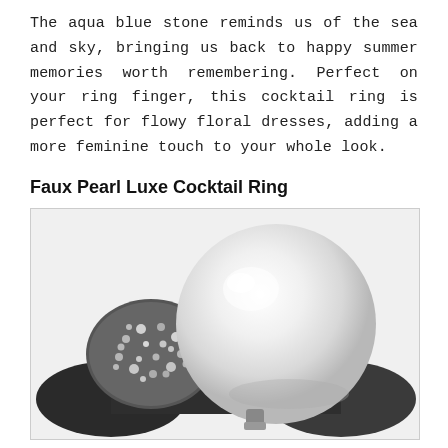The aqua blue stone reminds us of the sea and sky, bringing us back to happy summer memories worth remembering. Perfect on your ring finger, this cocktail ring is perfect for flowy floral dresses, adding a more feminine touch to your whole look.
Faux Pearl Luxe Cocktail Ring
[Figure (photo): Close-up photograph of a faux pearl luxe cocktail ring. A large white iridescent pearl sits atop a dark gunmetal band, flanked by a pavé crystal-encrusted cluster on the left side. The ring is shown in black and white / grayscale.]